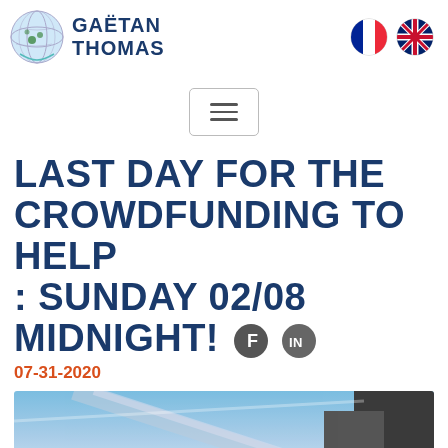GAËTAN THOMAS
LAST DAY FOR THE CROWDFUNDING TO HELP : SUNDAY 02/08 MIDNIGHT!
07-31-2020
[Figure (photo): Photo of what appears to be a bicycle or vehicle component against a blue sky background]